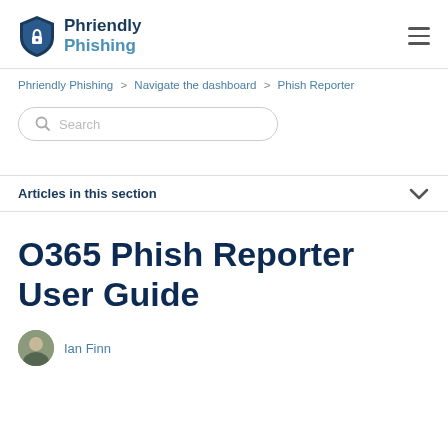Phriendly Phishing
Phriendly Phishing > Navigate the dashboard > Phish Reporter
Search
Articles in this section
O365 Phish Reporter User Guide
Ian Finn